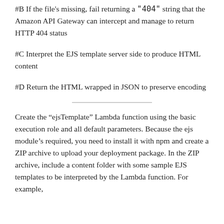#B If the file's missing, fail returning a "404" string that the Amazon API Gateway can intercept and manage to return HTTP 404 status
#C Interpret the EJS template server side to produce HTML content
#D Return the HTML wrapped in JSON to preserve encoding
Create the “ejsTemplate” Lambda function using the basic execution role and all default parameters. Because the ejs module’s required, you need to install it with npm and create a ZIP archive to upload your deployment package. In the ZIP archive, include a content folder with some sample EJS templates to be interpreted by the Lambda function. For example,